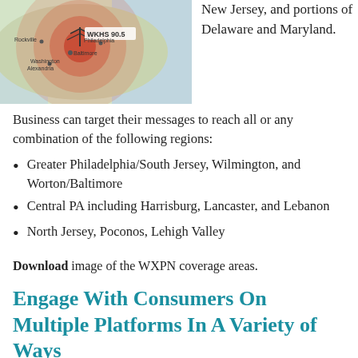[Figure (map): Map showing WKHS 90.5 radio coverage area over the Philadelphia/Baltimore/Delaware/Maryland region with red shaded coverage zones.]
New Jersey, and portions of Delaware and Maryland.
Business can target their messages to reach all or any combination of the following regions:
Greater Philadelphia/South Jersey, Wilmington, and Worton/Baltimore
Central PA including Harrisburg, Lancaster, and Lebanon
North Jersey, Poconos, Lehigh Valley
Download image of the WXPN coverage areas.
Engage With Consumers On Multiple Platforms In A Variety of Ways
Your WXPN Business Support specialist will work with you to build an individualized package that supports your marketing objectives. Campaigns may include a